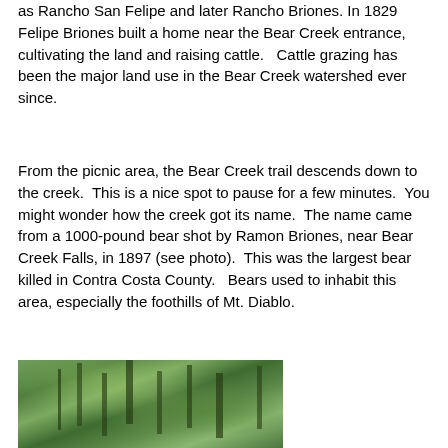as Rancho San Felipe and later Rancho Briones.  In 1829 Felipe Briones built a home near the Bear Creek entrance, cultivating the land and raising cattle.   Cattle grazing has been the major land use in the Bear Creek watershed ever since.
From the picnic area, the Bear Creek trail descends down to the creek.  This is a nice spot to pause for a few minutes.  You might wonder how the creek got its name.  The name came from a 1000-pound bear shot by Ramon Briones, near Bear Creek Falls, in 1897 (see photo).  This was the largest bear killed in Contra Costa County.   Bears used to inhabit this area, especially the foothills of Mt. Diablo.
[Figure (photo): Photo of tree canopy with green leaves and branches against sky, taken from below looking up in a forested area near Bear Creek.]